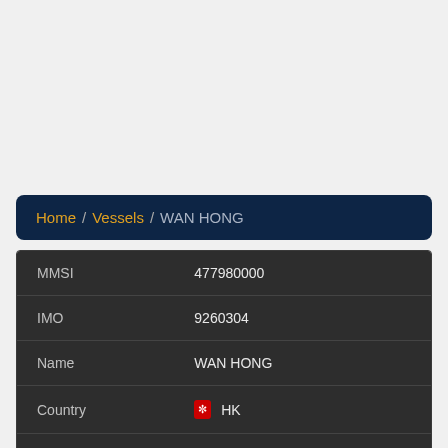Home / Vessels / WAN HONG
| Field | Value |
| --- | --- |
| MMSI | 477980000 |
| IMO | 9260304 |
| Name | WAN HONG |
| Country | 🏴 HK |
| MMSI Type | Vessel |